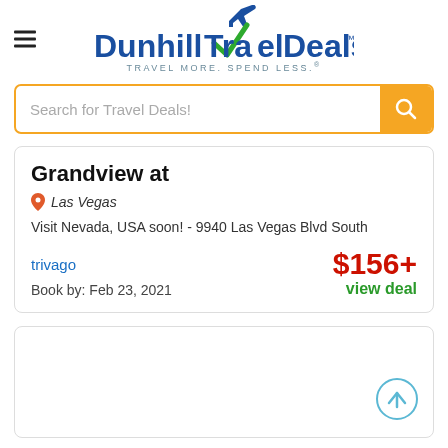DunhillTravelDeals™ TRAVEL MORE. SPEND LESS.®
Search for Travel Deals!
Grandview at
Las Vegas
Visit Nevada, USA soon! - 9940 Las Vegas Blvd South
trivago
$156+
view deal
Book by: Feb 23, 2021